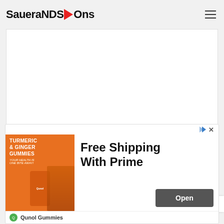SaueraNDS→Ons
[Figure (other): White blank image area placeholder in article]
The  reasons  for  this  development  have
[Figure (other): Advertisement banner: Turmeric & Ginger Gummies - Free Shipping With Prime - Qunol Gummies - Open button]